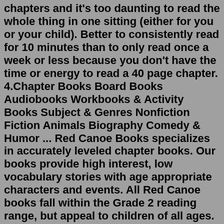chapters and it's too daunting to read the whole thing in one sitting (either for you or your child). Better to consistently read for 10 minutes than to only read once a week or less because you don't have the time or energy to read a 40 page chapter. 4.Chapter Books Board Books Audiobooks Workbooks & Activity Books Subject & Genres Nonfiction Fiction Animals Biography Comedy & Humor ... Red Canoe Books specializes in accurately leveled chapter books. Our books provide high interest, low vocabulary stories with age appropriate characters and events. All Red Canoe books fall within the Grade 2 reading range, but appeal to children of all ages. The high interest, low vocabulary format provides encouragement to children who are ...Chapter Books. Free books online - the best chapter books for kids! 20 Mins+ Adventures Age 7-12 Animals Chapter Books Magic Monsters Vintage Stories Witches. The Wonderful Wizard of Oz. Dorothy finds herself in a new and wonderful land when a cyclone picks up her house. May 31, 2015 April 15, 2022.Categories: Chapter